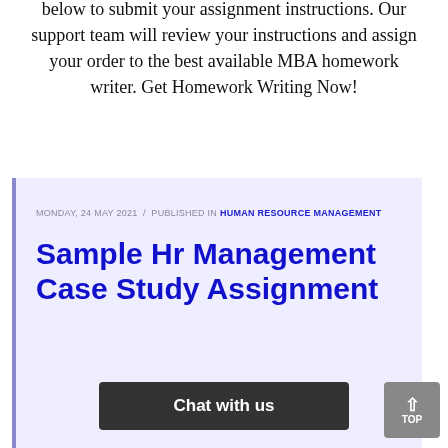below to submit your assignment instructions. Our support team will review your instructions and assign your order to the best available MBA homework writer. Get Homework Writing Now!
MONDAY, 24 MAY 2021 / PUBLISHED IN HUMAN RESOURCE MANAGEMENT
Sample Hr Management Case Study Assignment
Chat with us